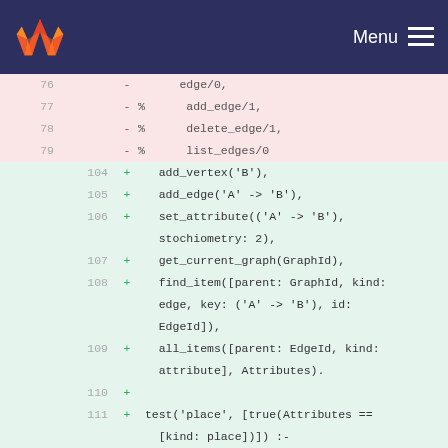GitLab Menu
Code diff viewer showing removed lines 77-79 and added lines 104-115
77  - %    add_edge/1,
78  - %    delete_edge/1,
79  - %    list_edges/0
104 +    add_vertex('B'),
105 +    add_edge('A' -> 'B'),
106 +    set_attribute(('A' -> 'B'), stochiometry: 2),
107 +    get_current_graph(GraphId),
108 +    find_item([parent: GraphId, kind: edge, key: ('A' -> 'B'), id: EdgeId]),
109 +    all_items([parent: EdgeId, kind: attribute], Attributes).
110 +
111 + test('place', [true(Attributes == [kind: place])]) :-
112 +    clear_model,
113 +    new_graph,
114 +    transition('A'),
115 +    place('A'),